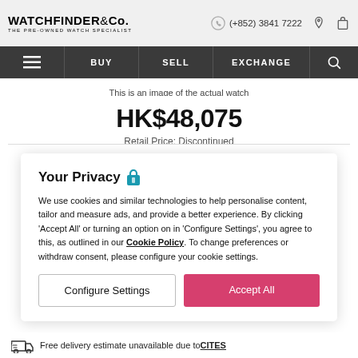WATCHFINDER & Co. THE PRE-OWNED WATCH SPECIALIST | (+852) 3841 7222
BUY | SELL | EXCHANGE
This is an image of the actual watch
HK$48,075
Retail Price: Discontinued
Your Privacy
We use cookies and similar technologies to help personalise content, tailor and measure ads, and provide a better experience. By clicking 'Accept All' or turning an option on in 'Configure Settings', you agree to this, as outlined in our Cookie Policy. To change preferences or withdraw consent, please configure your cookie settings.
Configure Settings | Accept All
Free delivery estimate unavailable due to CITES